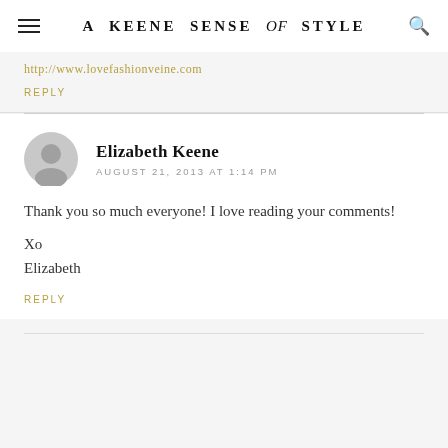A KEENE SENSE of STYLE
http://www.lovefashionveine.com
REPLY
Elizabeth Keene
AUGUST 21, 2013 AT 1:14 PM
Thank you so much everyone! I love reading your comments!

Xo
Elizabeth
REPLY